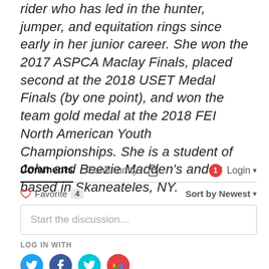rider who has led in the hunter, jumper, and equitation rings since early in her junior career. She won the 2017 ASPCA Maclay Finals, placed second at the 2018 USET Medal Finals (by one point), and won the team gold medal at the 2018 FEI North American Youth Championships. She is a student of John and Beezie Madden's and is based in Skaneateles, NY.
Comments  Community  🔒                    1  Login ▾
♡ Favorite 4    Sort by Newest ▾
Start the discussion…
LOG IN WITH